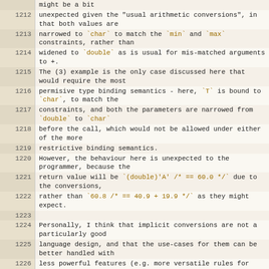| line | content |
| --- | --- |
|  | might be a bit |
| 1212 | unexpected given the "usual arithmetic conversions", in that both values are |
| 1213 | narrowed to `char` to match the `min` and `max` constraints, rather than |
| 1214 | widened to `double` as is usual for mis-matched arguments to +. |
| 1215 | The (3) example is the only case discussed here that would require the most |
| 1216 | permisive type binding semantics - here, `T` is bound to `char`, to match the |
| 1217 | constraints, and both the parameters are narrowed from `double` to `char` |
| 1218 | before the call, which would not be allowed under either of the more |
| 1219 | restrictive binding semantics. |
| 1220 | However, the behaviour here is unexpected to the programmer, because the |
| 1221 | return value will be `(double)'A' /* == 60.0 */` due to the conversions, |
| 1222 | rather than `60.8 /* == 40.9 + 19.9 */` as they might expect. |
| 1223 |  |
| 1224 | Personally, I think that implicit conversions are not a particularly good |
| 1225 | language design, and that the use-cases for them can be better handled with |
| 1226 | less powerful features (e.g. more versatile rules for typing constant |
| 1227 | expressions). |
| 1228 | However, though we do need implicit conversions in monomorphic code for C |
| 1229 | compatibility, I'm in favour of restricting their usage in polymorphic code, |
| 1230 | both to give programmers some stronger tools to suppress... |